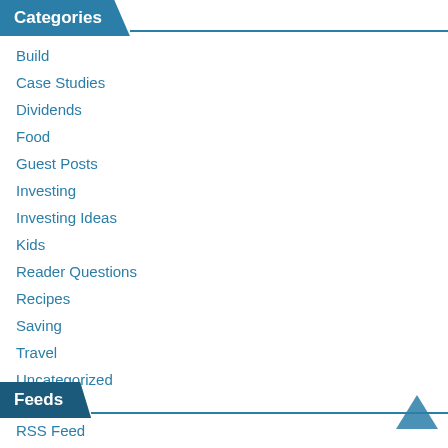Categories
Build
Case Studies
Dividends
Food
Guest Posts
Investing
Investing Ideas
Kids
Reader Questions
Recipes
Saving
Travel
Uncategorized
Feeds
RSS Feed